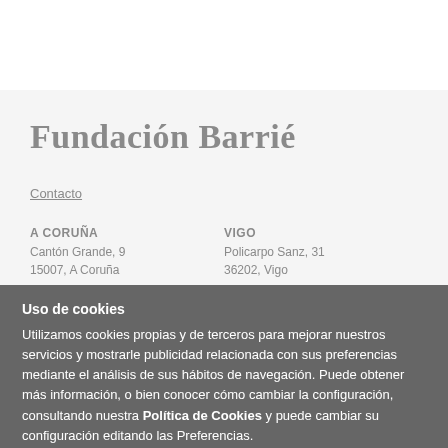Fundación Barrié
Contacto
A CORUÑA
Cantón Grande, 9
15007, A Coruña
VIGO
Policarpo Sanz, 31
36202, Vigo
Uso de cookies
Utilizamos cookies propias y de terceros para mejorar nuestros servicios y mostrarle publicidad relacionada con sus preferencias mediante el análisis de sus hábitos de navegación. Puede obtener más información, o bien conocer cómo cambiar la configuración, consultando nuestra Política de Cookies y puede cambiar su configuración editando las Preferencias.
Rechazar   Aceptar   Configuracion